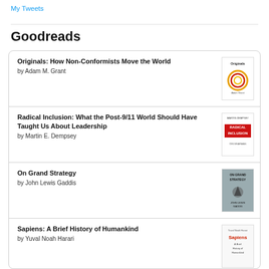My Tweets
Goodreads
Originals: How Non-Conformists Move the World by Adam M. Grant
Radical Inclusion: What the Post-9/11 World Should Have Taught Us About Leadership by Martin E. Dempsey
On Grand Strategy by John Lewis Gaddis
Sapiens: A Brief History of Humankind by Yuval Noah Harari
The Geography of Genius: A Search for the World's Most Creative Places from Ancient Athens to Silicon Valley